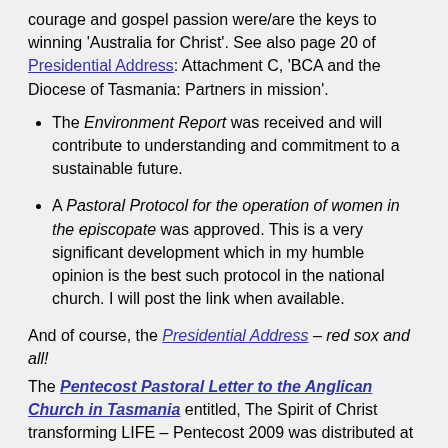courage and gospel passion were/are the keys to winning 'Australia for Christ'. See also page 20 of Presidential Address: Attachment C, 'BCA and the Diocese of Tasmania: Partners in mission'.
The Environment Report was received and will contribute to understanding and commitment to a sustainable future.
A Pastoral Protocol for the operation of women in the episcopate was approved. This is a very significant development which in my humble opinion is the best such protocol in the national church. I will post the link when available.
And of course, the Presidential Address – red sox and all!
The Pentecost Pastoral Letter to the Anglican Church in Tasmania entitled, The Spirit of Christ transforming LIFE – Pentecost 2009 was distributed at Synod – available